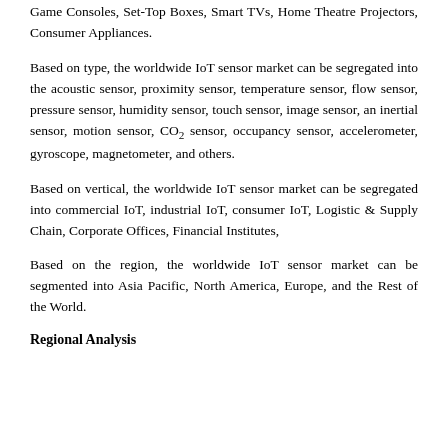Game Consoles, Set-Top Boxes, Smart TVs, Home Theatre Projectors, Consumer Appliances.
Based on type, the worldwide IoT sensor market can be segregated into the acoustic sensor, proximity sensor, temperature sensor, flow sensor, pressure sensor, humidity sensor, touch sensor, image sensor, an inertial sensor, motion sensor, CO2 sensor, occupancy sensor, accelerometer, gyroscope, magnetometer, and others.
Based on vertical, the worldwide IoT sensor market can be segregated into commercial IoT, industrial IoT, consumer IoT, Logistic & Supply Chain, Corporate Offices, Financial Institutes,
Based on the region, the worldwide IoT sensor market can be segmented into Asia Pacific, North America, Europe, and the Rest of the World.
Regional Analysis